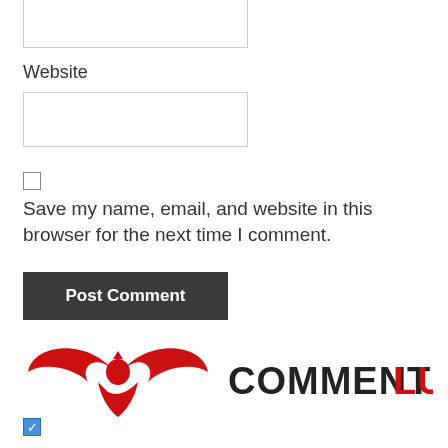[Figure (other): Empty text input box (top, partially cropped)]
Website
[Figure (other): Empty text input box for Website field]
[Figure (other): Unchecked checkbox]
Save my name, email, and website in this browser for the next time I comment.
[Figure (other): Post Comment button, dark gray background, white bold text]
[Figure (logo): CommentLuv logo with red phoenix bird icon and COMMENTLUV text where LUV is in red]
[Figure (other): Checked blue checkbox at bottom left of CommentLuv logo]